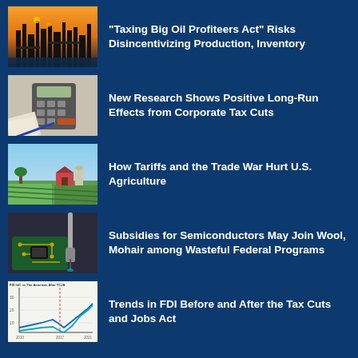[Figure (photo): Oil refinery at sunset with industrial towers silhouetted against orange sky]
“Taxing Big Oil Profiteers Act” Risks Disincentivizing Production, Inventory
[Figure (photo): Calculator and financial documents on desk]
New Research Shows Positive Long-Run Effects from Corporate Tax Cuts
[Figure (photo): Aerial view of green agricultural farmland with buildings]
How Tariffs and the Trade War Hurt U.S. Agriculture
[Figure (photo): Semiconductor chip manufacturing close-up with robotic arm]
Subsidies for Semiconductors May Join Wool, Mohair among Wasteful Federal Programs
[Figure (line-chart): Small line chart thumbnail showing FDI trends before and after Tax Cuts and Jobs Act]
Trends in FDI Before and After the Tax Cuts and Jobs Act